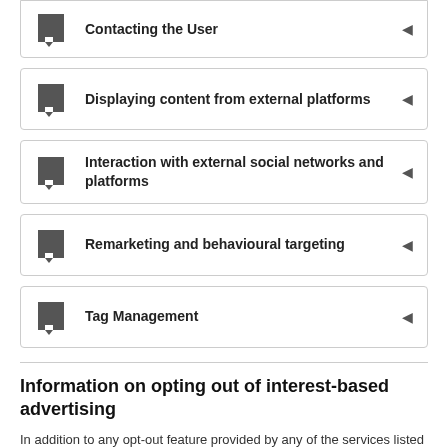Contacting the User
Displaying content from external platforms
Interaction with external social networks and platforms
Remarketing and behavioural targeting
Tag Management
Information on opting out of interest-based advertising
In addition to any opt-out feature provided by any of the services listed in this document, Users may learn more on how to generally opt out of interest-based advertising within the dedicated section of the Cookie